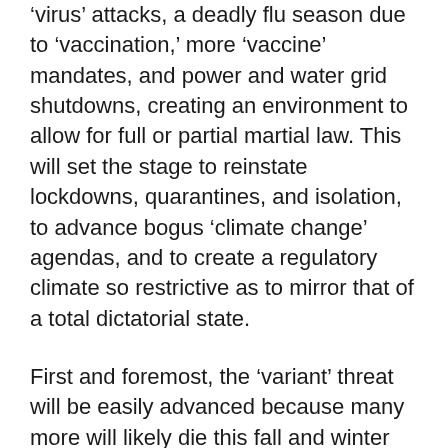'virus' attacks, a deadly flu season due to 'vaccination,' more 'vaccine' mandates, and power and water grid shutdowns, creating an environment to allow for full or partial martial law. This will set the stage to reinstate lockdowns, quarantines, and isolation, to advance bogus 'climate change' agendas, and to create a regulatory climate so restrictive as to mirror that of a total dictatorial state.
First and foremost, the 'variant' threat will be easily advanced because many more will likely die this fall and winter than last due to widespread immune system failures because of the stress of the lockdowns and isolation, and the millions of